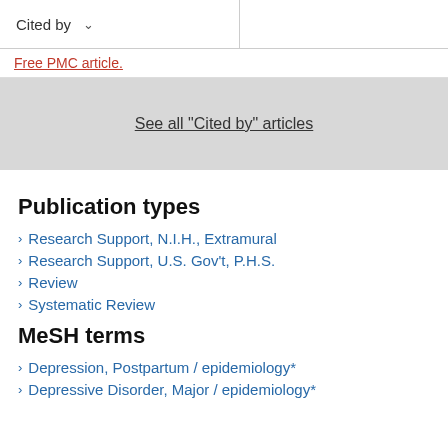Cited by
Free PMC article.
See all "Cited by" articles
Publication types
Research Support, N.I.H., Extramural
Research Support, U.S. Gov't, P.H.S.
Review
Systematic Review
MeSH terms
Depression, Postpartum / epidemiology*
Depressive Disorder, Major / epidemiology*